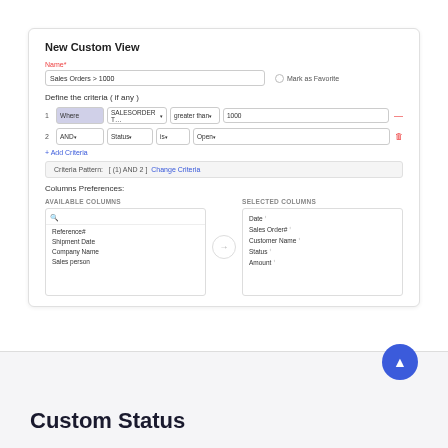[Figure (screenshot): New Custom View dialog in a web application showing fields for Name, criteria rows with dropdowns and values, Criteria Pattern, and Columns Preferences with Available Columns and Selected Columns panels.]
Custom Status